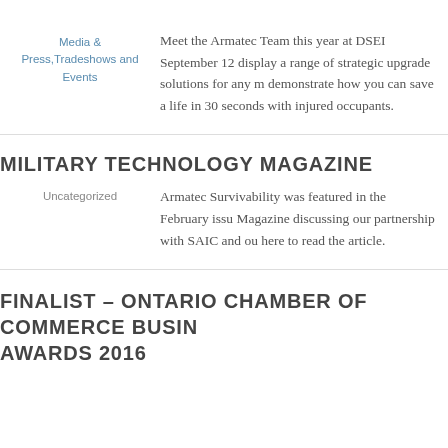Media & Press Tradeshows and Events
Meet the Armatec Team this year at DSEI September 12 display a range of strategic upgrade solutions for any m demonstrate how you can save a life in 30 seconds with injured occupants.
MILITARY TECHNOLOGY MAGAZINE
Uncategorized
Armatec Survivability was featured in the February issu Magazine discussing our partnership with SAIC and ou here to read the article.
FINALIST – ONTARIO CHAMBER OF COMMERCE BUSINESS AWARDS 2016